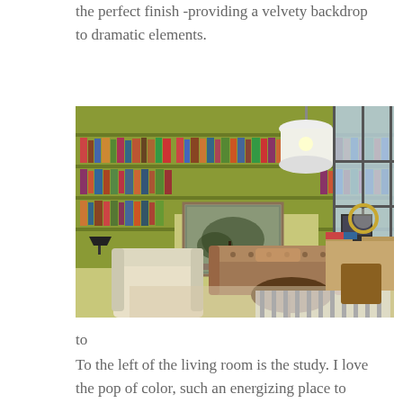the perfect finish -providing a velvety backdrop to dramatic elements.
[Figure (photo): Interior photo of an elegant study/library room with floor-to-ceiling green bookshelves filled with books, leather Chesterfield sofa, cream armchair, round coffee table, large painting on wall, drum pendant light, and a writing desk with computer near large windows.]
to
To the left of the living room is the study. I love the pop of color, such an energizing place to cuddle up